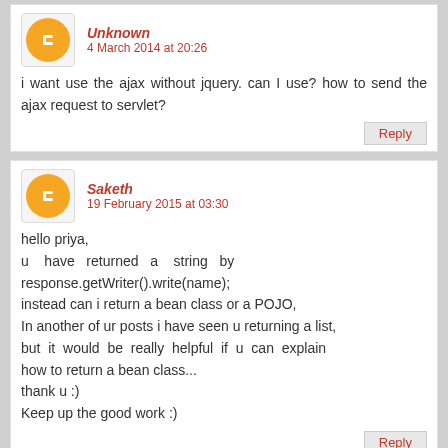Unknown
4 March 2014 at 20:26
i want use the ajax without jquery. can I use? how to send the ajax request to servlet?
Saketh
19 February 2015 at 03:30
hello priya,
u have returned a string by response.getWriter().write(name);
instead can i return a bean class or a POJO,
In another of ur posts i have seen u returning a list,
but it would be really helpful if u can explain how to return a bean class...
thank u :)
Keep up the good work :)